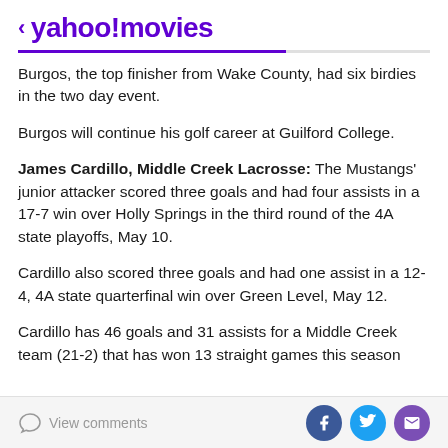< yahoo!movies
Burgos, the top finisher from Wake County, had six birdies in the two day event.
Burgos will continue his golf career at Guilford College.
James Cardillo, Middle Creek Lacrosse: The Mustangs' junior attacker scored three goals and had four assists in a 17-7 win over Holly Springs in the third round of the 4A state playoffs, May 10.
Cardillo also scored three goals and had one assist in a 12-4, 4A state quarterfinal win over Green Level, May 12.
Cardillo has 46 goals and 31 assists for a Middle Creek team (21-2) that has won 13 straight games this season
View comments